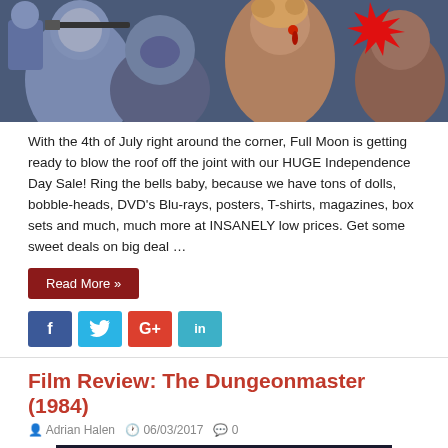[Figure (photo): Top portion of a movie/horror themed image with characters and a red starburst graphic]
With the 4th of July right around the corner, Full Moon is getting ready to blow the roof off the joint with our HUGE Independence Day Sale! Ring the bells baby, because we have tons of dolls, bobble-heads, DVD's Blu-rays, posters, T-shirts, magazines, box sets and much, much more at INSANELY low prices. Get some sweet deals on big deal …
Read More »
[Figure (other): Social media share buttons: Facebook, Twitter, Google+, LinkedIn]
Film Review: The Dungeonmaster (1984)
Adrian Halen  06/03/2017  0
[Figure (photo): Bottom portion of The Dungeonmaster (1984) movie image, partially visible]